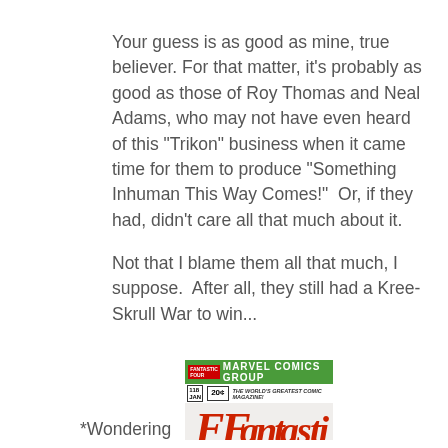Your guess is as good as mine, true believer. For that matter, it’s probably as good as those of Roy Thomas and Neal Adams, who may not have even heard of this “Trikon” business when it came time for them to produce “Something Inhuman This Way Comes!”  Or, if they had, didn’t care all that much about it.

Not that I blame them all that much, I suppose.  After all, they still had a Kree-Skrull War to win...
*Wondering
[Figure (other): Partial comic book cover: Fantastic Four Marvel Comics Group issue 118, January, 20 cents. The World's Greatest Comic Magazine! with red stylized FF logo letters visible.]